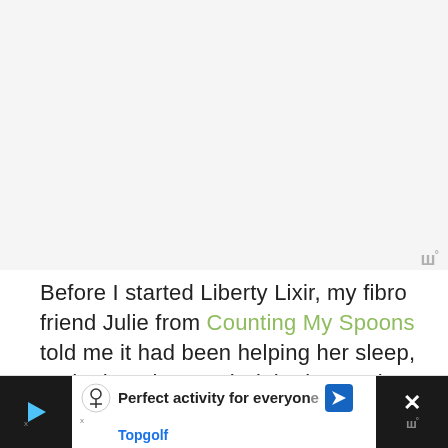[Figure (other): Light gray rectangular area at top of page, likely an image placeholder]
ш°
Before I started Liberty Lixir, my fibro friend Julie from Counting My Spoons told me it had been helping her sleep, and I thought, “Yeah right, it must be something else she’s doing because CBD has never done anything for my sleep.” But after using Liberty Lixir for a week or so, I was a believer. It did make a difference in my sleep!
[Figure (other): Advertisement banner for Topgolf: 'Perfect activity for everyone' with Topgolf logo and navigation icon]